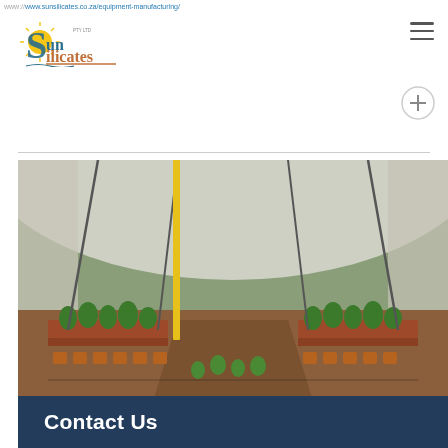www.sunsilicates.co.za/equipment-manufacturing/
[Figure (logo): Sun Silicates PTY LTD logo with sun icon and stylized text]
[Figure (photo): Interior of a greenhouse with rows of plants in terracotta pots along brick-edged raised beds, drip irrigation lines, metal frame structure with white shade cloth walls]
Contact Us